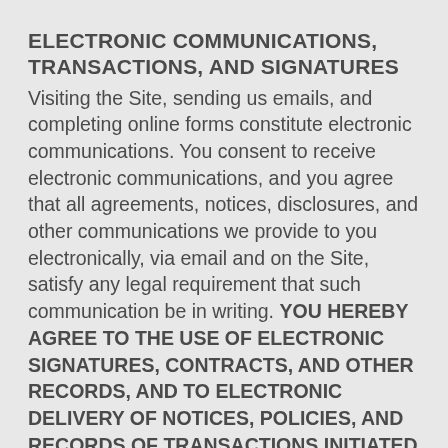ELECTRONIC COMMUNICATIONS, TRANSACTIONS, AND SIGNATURES
Visiting the Site, sending us emails, and completing online forms constitute electronic communications. You consent to receive electronic communications, and you agree that all agreements, notices, disclosures, and other communications we provide to you electronically, via email and on the Site, satisfy any legal requirement that such communication be in writing. YOU HEREBY AGREE TO THE USE OF ELECTRONIC SIGNATURES, CONTRACTS, AND OTHER RECORDS, AND TO ELECTRONIC DELIVERY OF NOTICES, POLICIES, AND RECORDS OF TRANSACTIONS INITIATED OR COMPLETED BY US OR VIA THE SITE. You hereby waive any rights or